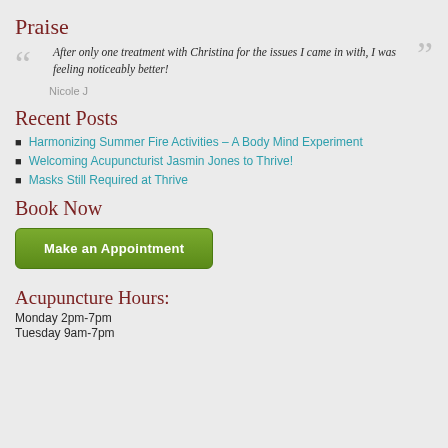Praise
After only one treatment with Christina for the issues I came in with, I was feeling noticeably better!
Nicole J
Recent Posts
Harmonizing Summer Fire Activities – A Body Mind Experiment
Welcoming Acupuncturist Jasmin Jones to Thrive!
Masks Still Required at Thrive
Book Now
Make an Appointment
Acupuncture Hours:
Monday 2pm-7pm
Tuesday 9am-7pm